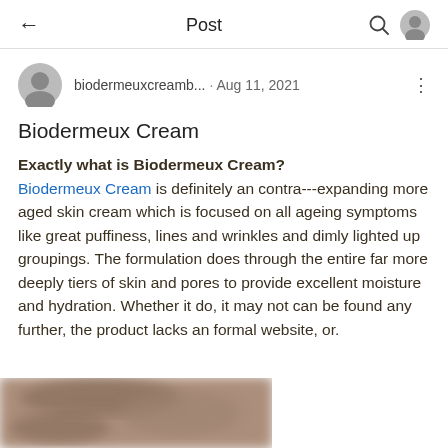← Post 🔍 👤
biodermeuxcreamb... · Aug 11, 2021 ⋮
Biodermeux Cream
Exactly what is Biodermeux Cream?
Biodermeux Cream is definitely an contra---expanding more aged skin cream which is focused on all ageing symptoms like great puffiness, lines and wrinkles and dimly lighted up groupings. The formulation does through the entire far more deeply tiers of skin and pores to provide excellent moisture and hydration. Whether it do, it may not can be found any further, the product lacks an formal website, or.
[Figure (photo): Blurred/censored photo partially visible at bottom of screen showing a person's face]